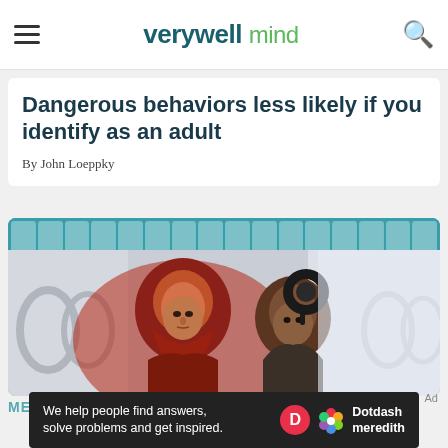verywell mind
Dangerous behaviors less likely if you identify as an adult
By John Loeppky
[Figure (photo): Two people, one wearing a red headscarf in the foreground bathed in red light, another person behind with a circular object on their head, set in a grand arched corridor.]
MENTAL HEALTH NEWS
We help people find answers, solve problems and get inspired.
[Figure (logo): Dotdash Meredith logo with red D circle and colorful flower icon]